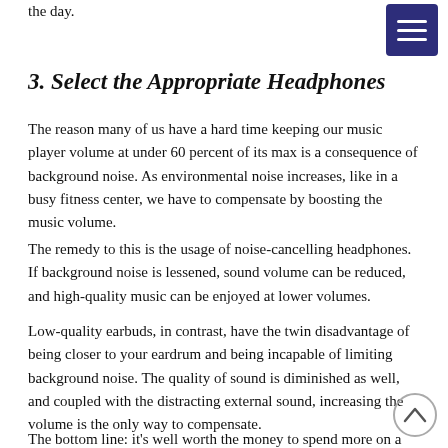the day.
3. Select the Appropriate Headphones
The reason many of us have a hard time keeping our music player volume at under 60 percent of its max is a consequence of background noise. As environmental noise increases, like in a busy fitness center, we have to compensate by boosting the music volume.
The remedy to this is the usage of noise-cancelling headphones. If background noise is lessened, sound volume can be reduced, and high-quality music can be enjoyed at lower volumes.
Low-quality earbuds, in contrast, have the twin disadvantage of being closer to your eardrum and being incapable of limiting background noise. The quality of sound is diminished as well, and coupled with the distracting external sound, increasing the volume is the only way to compensate.
The bottom line: it's well worth the money to spend more on a